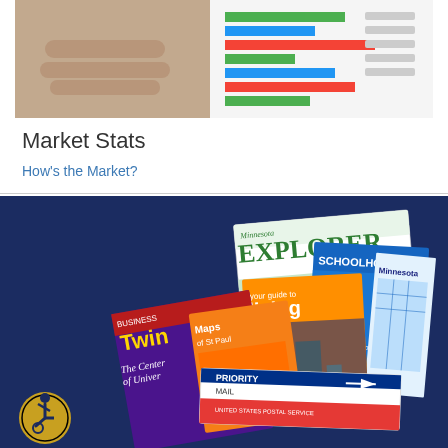[Figure (photo): Person pointing at a bar chart document with colorful horizontal bars in green, blue, red representing market statistics]
Market Stats
How's the Market?
[Figure (photo): Dark navy blue background with a collage of magazines and mail pieces including Minnesota Explorer, Twin Cities magazine, Schoolhouse publication, Living magazine, Maps of St Paul, Priority Mail USPS package, and a Minnesota road map. An accessibility icon (wheelchair symbol in a gold circle) is visible in the lower left corner.]